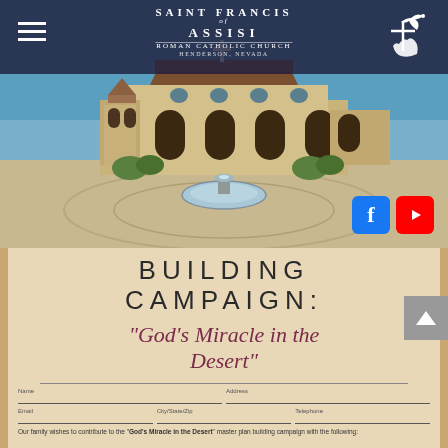[Figure (photo): Saint Francis of Assisi Roman Catholic Church exterior with fountain in foreground, blue sky background, stone facade building]
SAINT FRANCIS OF ASSISI ROMAN CATHOLIC CHURCH HENDERSON, NEVADA
BUILDING CAMPAIGN:
"God's Miracle in the Desert"
Our family wishes to contribute to the "God's Miracle in the Desert" master plan building campaign with the following: